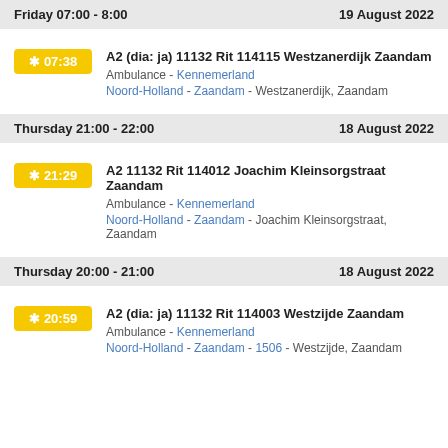Friday 07:00 - 8:00 | 19 August 2022
07:38 | A2 (dia: ja) 11132 Rit 114115 Westzanerdijk Zaandam | Ambulance - Kennemerland | Noord-Holland - Zaandam - Westzanerdijk, Zaandam
Thursday 21:00 - 22:00 | 18 August 2022
21:29 | A2 11132 Rit 114012 Joachim Kleinsorgstraat Zaandam | Ambulance - Kennemerland | Noord-Holland - Zaandam - Joachim Kleinsorgstraat, Zaandam
Thursday 20:00 - 21:00 | 18 August 2022
20:59 | A2 (dia: ja) 11132 Rit 114003 Westzijde Zaandam | Ambulance - Kennemerland | Noord-Holland - Zaandam - 1506 - Westzijde, Zaandam